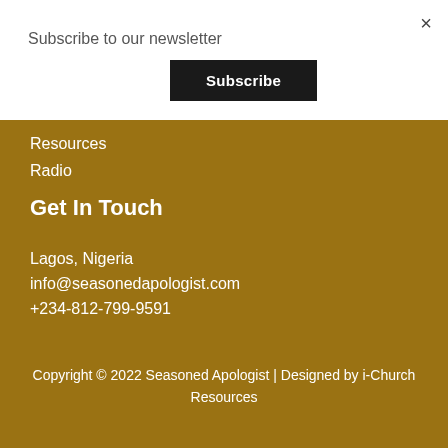Subscribe to our newsletter
Subscribe
×
Resources
Radio
Get In Touch
Lagos, Nigeria
info@seasonedapologist.com
+234-812-799-9591
Copyright © 2022 Seasoned Apologist | Designed by i-Church Resources